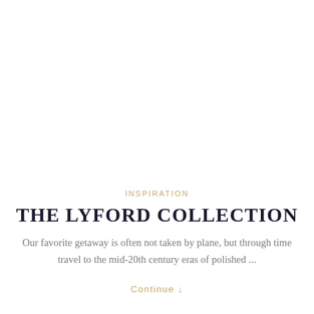[Figure (photo): Large whitespace or image area representing a photo placeholder at the top of the page]
INSPIRATION
THE LYFORD COLLECTION
Our favorite getaway is often not taken by plane, but through time travel to the mid-20th century eras of polished ...
Continue ↓